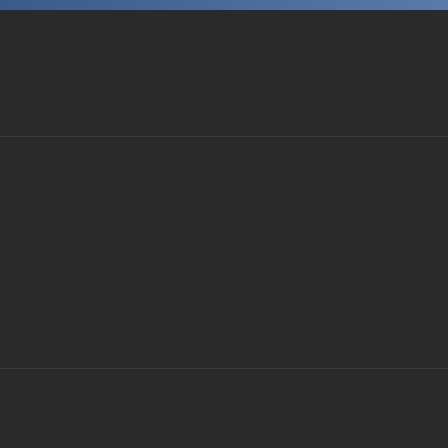My New Life – Version 2.1.1 Fix Jack's Life + Walkthrough
60.6k views
Melody – Version 1.00 Extras Included (Pc, Android) Full Game
59.9k views
Fallen Doll – Version 1.31 (VR + Non-VR)
56.2k views
Indecent Desires – the GAME – Version 0.20 Alpha (Pc, Android) + Incest Patch
54.4k views
Mother Seduction – Version 1.0 Completed